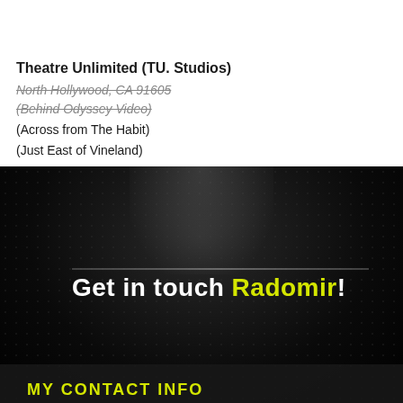AT THE THEATRE WITH RADOMIR LUZA
Theatre Unlimited (TU. Studios)
North Hollywood, CA 91605
(Behind Odyssey Video)
(Across from The Habit)
(Just East of Vineland)
[Figure (photo): Dark theatrical background with spotlight beam, dot pattern texture, and horizontal accent line]
Get in touch Radomir!
MY CONTACT INFO